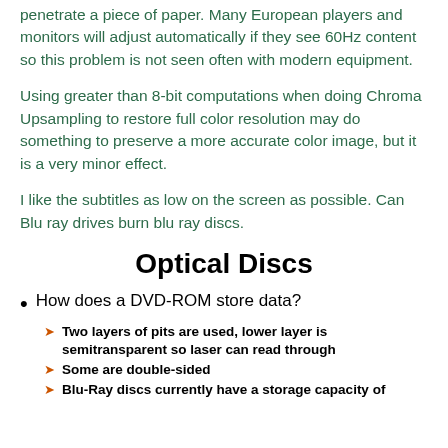penetrate a piece of paper. Many European players and monitors will adjust automatically if they see 60Hz content so this problem is not seen often with modern equipment.
Using greater than 8-bit computations when doing Chroma Upsampling to restore full color resolution may do something to preserve a more accurate color image, but it is a very minor effect.
I like the subtitles as low on the screen as possible. Can Blu ray drives burn blu ray discs.
Optical Discs
How does a DVD-ROM store data?
Two layers of pits are used, lower layer is semitransparent so laser can read through
Some are double-sided
Blu-Ray discs currently have a storage capacity of up to 25 GB...